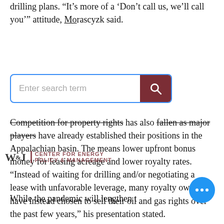drilling plans. “It’s more of a ‘Don’t call us, we’ll call you’” attitude, Morascyzk said.
[Figure (screenshot): Search bar UI element with blue border, text placeholder 'Enter search term', and dark red search button with magnifying glass icon]
[Figure (logo): W&J Center for Energy Policy & Management watermark logo overlaid on text]
Competition for property rights has also fallen as major players have already established their positions in the Appalachian basin. The means lower upfront bonus money for leasing acreage and lower royalty rates. “Instead of waiting for drilling and/or negotiating a lease with unfavorable leverage, many royalty owners have instead chosen to sell their oil and gas rights over the past few years,” his presentation stated.
[Figure (other): Blue circular chat/more options button with three white dots]
While the pandemic will lengthen t...